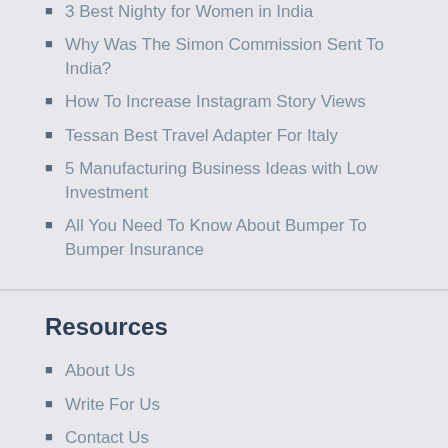3 Best Nighty for Women in India
Why Was The Simon Commission Sent To India?
How To Increase Instagram Story Views
Tessan Best Travel Adapter For Italy
5 Manufacturing Business Ideas with Low Investment
All You Need To Know About Bumper To Bumper Insurance
Resources
About Us
Write For Us
Contact Us